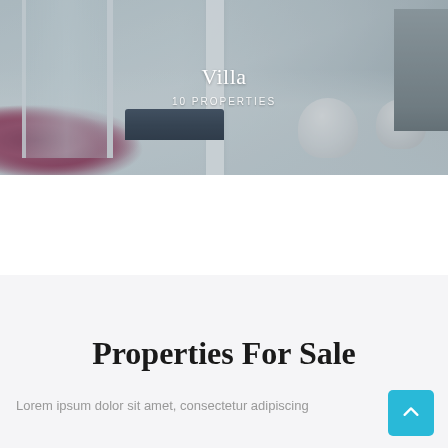[Figure (photo): Interior photo of a bright, modern living room with white walls, large windows, white chairs, a dark sofa, flower pots with pink/purple flowers on the left, and a fireplace on the right. Overlaid text reads 'Villa' and '10 PROPERTIES'.]
Properties For Sale
Lorem ipsum dolor sit amet, consectetur adipiscing